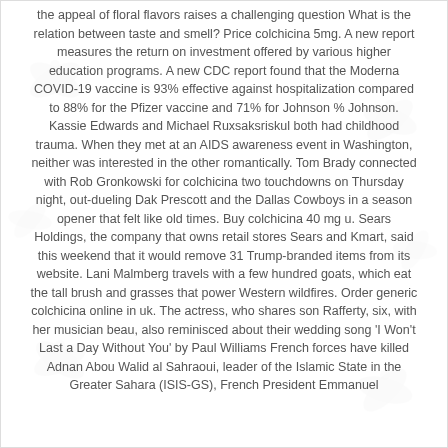the appeal of floral flavors raises a challenging question What is the relation between taste and smell? Price colchicina 5mg. A new report measures the return on investment offered by various higher education programs. A new CDC report found that the Moderna COVID-19 vaccine is 93% effective against hospitalization compared to 88% for the Pfizer vaccine and 71% for Johnson % Johnson. Kassie Edwards and Michael Ruxsaksriskul both had childhood trauma. When they met at an AIDS awareness event in Washington, neither was interested in the other romantically. Tom Brady connected with Rob Gronkowski for colchicina two touchdowns on Thursday night, out-dueling Dak Prescott and the Dallas Cowboys in a season opener that felt like old times. Buy colchicina 40 mg u. Sears Holdings, the company that owns retail stores Sears and Kmart, said this weekend that it would remove 31 Trump-branded items from its website. Lani Malmberg travels with a few hundred goats, which eat the tall brush and grasses that power Western wildfires. Order generic colchicina online in uk. The actress, who shares son Rafferty, six, with her musician beau, also reminisced about their wedding song 'I Won't Last a Day Without You' by Paul Williams French forces have killed Adnan Abou Walid al Sahraoui, leader of the Islamic State in the Greater Sahara (ISIS-GS), French President Emmanuel